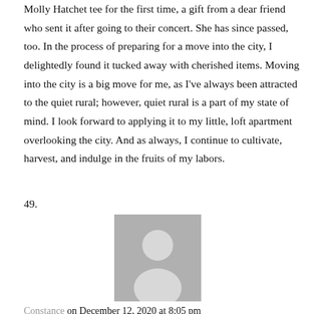Molly Hatchet tee for the first time, a gift from a dear friend who sent it after going to their concert. She has since passed, too. In the process of preparing for a move into the city, I delightedly found it tucked away with cherished items. Moving into the city is a big move for me, as I've always been attracted to the quiet rural; however, quiet rural is a part of my state of mind. I look forward to applying it to my little, loft apartment overlooking the city. And as always, I continue to cultivate, harvest, and indulge in the fruits of my labors.
49.
[Figure (photo): Generic user avatar placeholder image showing a grey silhouette of a person on a grey background]
Constance on December 12, 2020 at 8:05 pm